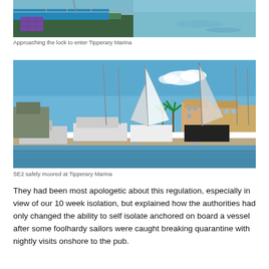[Figure (photo): Partial view of a sailboat deck approaching the lock to enter Tipperary Marina, with blue water visible]
Approaching the lock to enter Tipperary Marina
[Figure (photo): Several sailboats and motorboats moored at Tipperary Marina on a sunny day, with buildings and palm trees in the background]
SE2 safely moored at Tipperary Marina
They had been most apologetic about this regulation, especially in view of our 10 week isolation, but explained how the authorities had only changed the ability to self isolate anchored on board a vessel after some foolhardy sailors were caught breaking quarantine with nightly visits onshore to the pub.